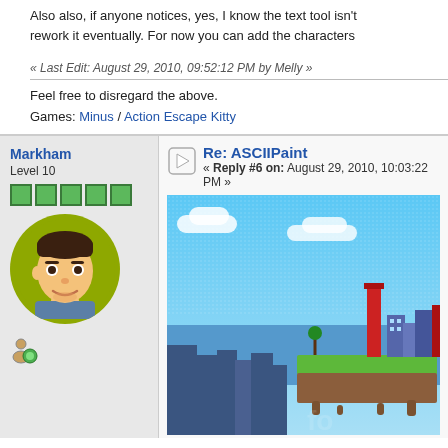Also also, if anyone notices, yes, I know the text tool isn't rework it eventually. For now you can add the characters
« Last Edit: August 29, 2010, 09:52:12 PM by Melly »
Feel free to disregard the above.
Games: Minus / Action Escape Kitty
Markham
Level 10
Re: ASCIIPaint
« Reply #6 on: August 29, 2010, 10:03:22 PM »
[Figure (screenshot): Pixel art scene with floating island, industrial buildings, sky background]